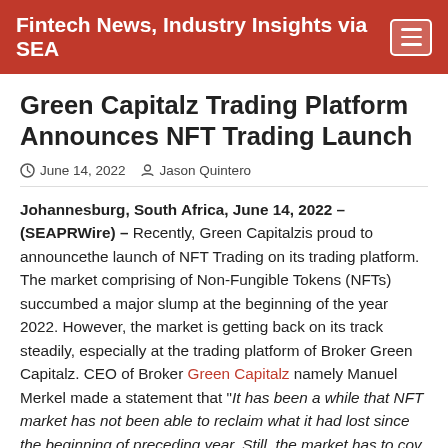Fintech News, Industry Insights via SEA
Green Capitalz Trading Platform Announces NFT Trading Launch
June 14, 2022  Jason Quintero
Johannesburg, South Africa, June 14, 2022 – (SEAPRWire) – Recently, Green Capitalzis proud to announcethe launch of NFT Trading on its trading platform. The market comprising of Non-Fungible Tokens (NFTs) succumbed a major slump at the beginning of the year 2022. However, the market is getting back on its track steadily, especially at the trading platform of Broker Green Capitalz. CEO of Broker Green Capitalz namely Manuel Merkel made a statement that "It has been a while that NFT market has not been able to reclaim what it had lost since the beginning of preceding year. Still, the market has to cov almost 50% of its value which prevailed in the initial days of